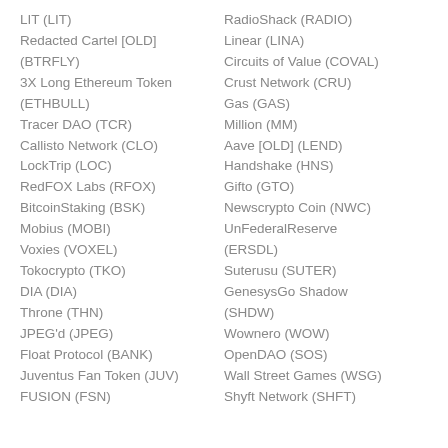LIT (LIT)
Redacted Cartel [OLD] (BTRFLY)
3X Long Ethereum Token (ETHBULL)
Tracer DAO (TCR)
Callisto Network (CLO)
LockTrip (LOC)
RedFOX Labs (RFOX)
BitcoinStaking (BSK)
Mobius (MOBI)
Voxies (VOXEL)
Tokocrypto (TKO)
DIA (DIA)
Throne (THN)
JPEG'd (JPEG)
Float Protocol (BANK)
Juventus Fan Token (JUV)
FUSION (FSN)
RadioShack (RADIO)
Linear (LINA)
Circuits of Value (COVAL)
Crust Network (CRU)
Gas (GAS)
Million (MM)
Aave [OLD] (LEND)
Handshake (HNS)
Gifto (GTO)
Newscrypto Coin (NWC)
UnFederalReserve (ERSDL)
Suterusu (SUTER)
GenesysGo Shadow (SHDW)
Wownero (WOW)
OpenDAO (SOS)
Wall Street Games (WSG)
Shyft Network (SHFT)